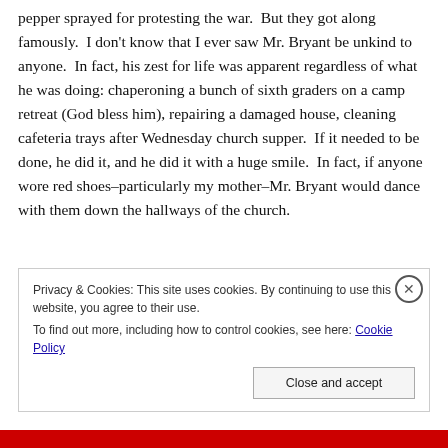pepper sprayed for protesting the war. But they got along famously. I don't know that I ever saw Mr. Bryant be unkind to anyone. In fact, his zest for life was apparent regardless of what he was doing: chaperoning a bunch of sixth graders on a camp retreat (God bless him), repairing a damaged house, cleaning cafeteria trays after Wednesday church supper. If it needed to be done, he did it, and he did it with a huge smile. In fact, if anyone wore red shoes–particularly my mother–Mr. Bryant would dance with them down the hallways of the church.
Often many church staff members/kids became distanced
Privacy & Cookies: This site uses cookies. By continuing to use this website, you agree to their use.
To find out more, including how to control cookies, see here: Cookie Policy